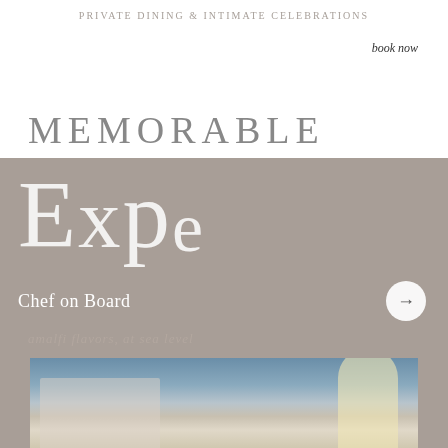PRIVATE DINING & INTIMATE CELEBRATIONS
book now
MEMORABLE
Expe
Chef on Board
amalfi flavors, at sea level
[Figure (photo): A chef's hand opening a wine bottle on a boat deck with a champagne bottle, glassware, and lemons visible, with sea and boat deck in background.]